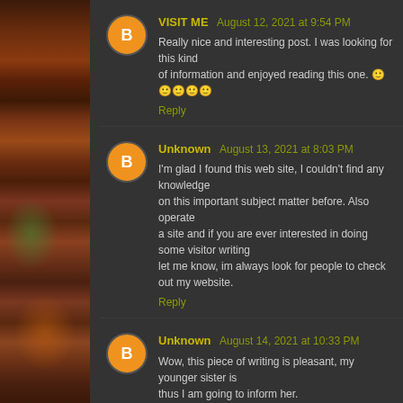[Figure (photo): Sidebar image of pizza/food with green vegetables and orange/red toppings on dark background]
VISIT ME August 12, 2021 at 9:54 PM
Really nice and interesting post. I was looking for this kind of information and enjoyed reading this one. 🙂🙂🙂🙂🙂
Reply
Unknown August 13, 2021 at 8:03 PM
I'm glad I found this web site, I couldn't find any knowledge on this important subject matter before. Also operate a site and if you are ever interested in doing some visitor writing for me if possible feel free to let me know, im always look for people to check out my web site.
Reply
Unknown August 14, 2021 at 10:33 PM
Wow, this piece of writing is pleasant, my younger sister is analyzing these things, thus I am going to inform her.
🙂🙂🙂🙂
Reply
jay August 16, 2021 at 2:30 AM